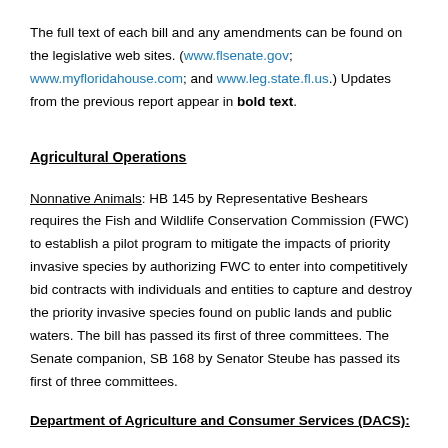The full text of each bill and any amendments can be found on the legislative web sites. (www.flsenate.gov; www.myfloridahouse.com; and www.leg.state.fl.us.) Updates from the previous report appear in bold text.
Agricultural Operations
Nonnative Animals: HB 145 by Representative Beshears requires the Fish and Wildlife Conservation Commission (FWC) to establish a pilot program to mitigate the impacts of priority invasive species by authorizing FWC to enter into competitively bid contracts with individuals and entities to capture and destroy the priority invasive species found on public lands and public waters. The bill has passed its first of three committees. The Senate companion, SB 168 by Senator Steube has passed its first of three committees.
Department of Agriculture and Consumer Services (DACS):